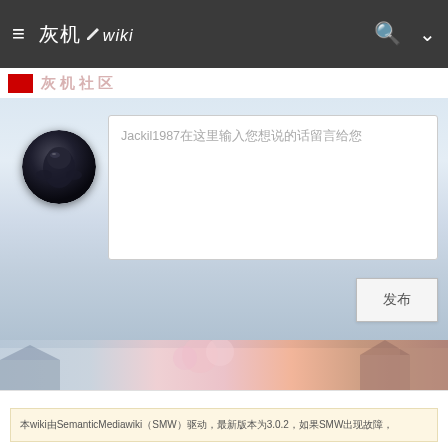灰机wiki — Navigation bar with hamburger menu, logo, search and dropdown icons
灰机社区
[Figure (photo): Circular avatar of a dark armored character against black background]
Jackil1987发表了一条站内消息给您的消息已读
发布
[Figure (photo): Colorful Japanese street scene with cherry blossoms]
本wiki由SemanticMediawiki（SMW）驱动，最新版本为3.0.2，如果SMW出现故障，